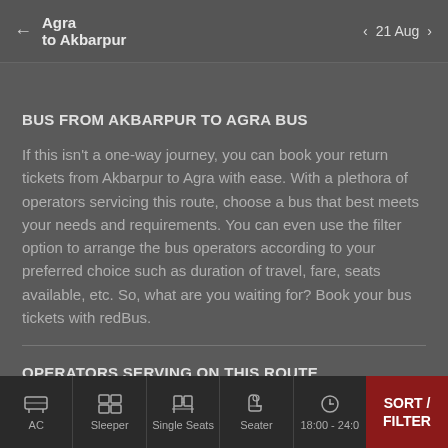Agra to Akbarpur — 21 Aug
BUS FROM AKBARPUR TO AGRA BUS
If this isn't a one-way journey, you can book your return tickets from Akbarpur to Agra with ease. With a plethora of operators servicing this route, choose a bus that best meets your needs and requirements. You can even use the filter option to arrange the bus operators according to your preferred choice such as duration of travel, fare, seats available, etc. So, what are you waiting for? Book your bus tickets with redBus.
OPERATORS SERVING ON THIS ROUTE
AC | Sleeper | Single Seats | Seater | 18:00 - 24:00 | SORT / FILTER